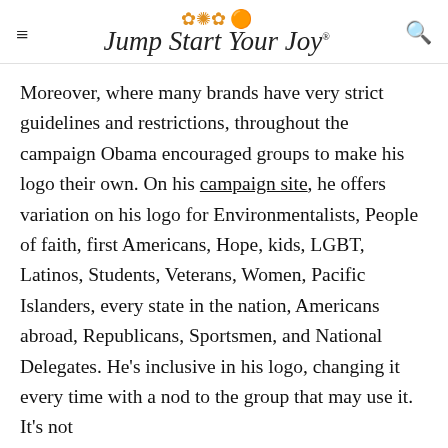Jump Start Your Joy
Moreover, where many brands have very strict guidelines and restrictions, throughout the campaign Obama encouraged groups to make his logo their own. On his campaign site, he offers variation on his logo for Environmentalists, People of faith, first Americans, Hope, kids, LGBT, Latinos, Students, Veterans, Women, Pacific Islanders, every state in the nation, Americans abroad, Republicans, Sportsmen, and National Delegates. He's inclusive in his logo, changing it every time with a nod to the group that may use it. It's not